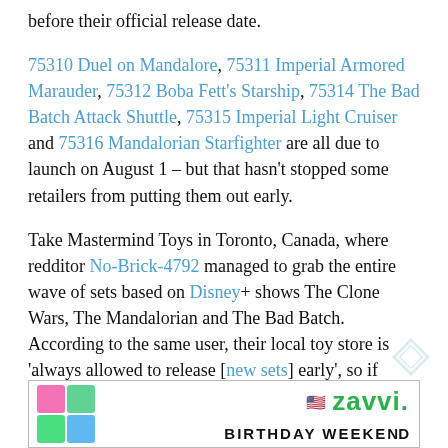before their official release date.
75310 Duel on Mandalore, 75311 Imperial Armored Marauder, 75312 Boba Fett's Starship, 75314 The Bad Batch Attack Shuttle, 75315 Imperial Light Cruiser and 75316 Mandalorian Starfighter are all due to launch on August 1 – but that hasn't stopped some retailers from putting them out early.
Take Mastermind Toys in Toronto, Canada, where redditor No-Brick-4792 managed to grab the entire wave of sets based on Disney+ shows The Clone Wars, The Mandalorian and The Bad Batch. According to the same user, their local toy store is 'always allowed to release [new sets] early', so if you're local to the area, it's worth checking out.
[Figure (other): Zavvi advertisement banner showing colorful LEGO-style blocks on the left and the Zavvi logo with a US flag icon on the right, with 'BIRTHDAY WEEKEND' text partially visible at the bottom.]